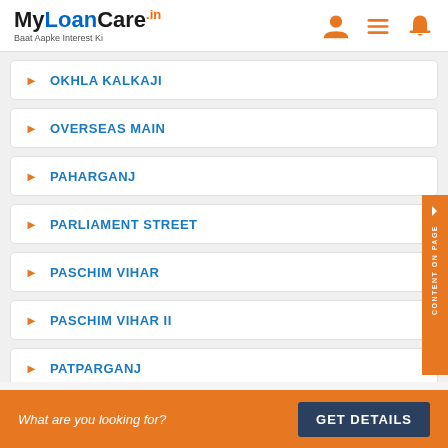MyLoanCare.in - Baat Aapke Interest Ki
OKHLA KALKAJI
OVERSEAS MAIN
PAHARGANJ
PARLIAMENT STREET
PASCHIM VIHAR
PASCHIM VIHAR II
PATPARGANJ
PITAMPURA
What are you looking for? GET DETAILS